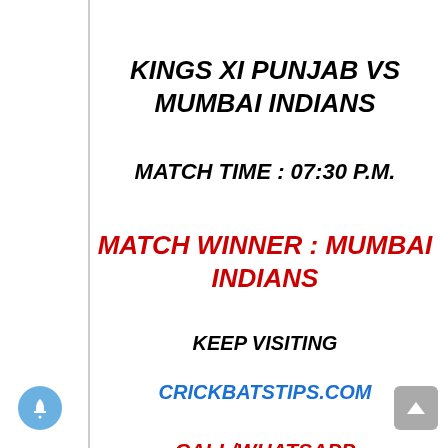KINGS XI PUNJAB VS MUMBAI INDIANS
MATCH TIME : 07:30 P.M.
MATCH WINNER : MUMBAI INDIANS
KEEP VISITING
CRICKBATSTIPS.COM
CALL/WHATSAPP
9871973570